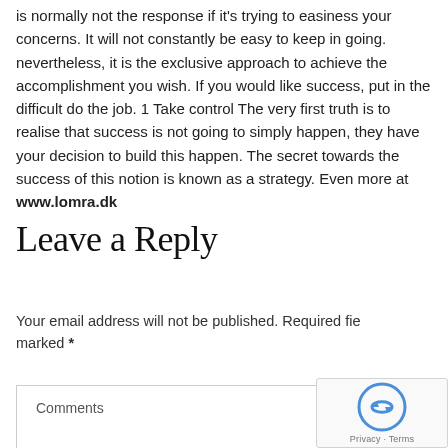is normally not the response if it's trying to easiness your concerns. It will not constantly be easy to keep in going. nevertheless, it is the exclusive approach to achieve the accomplishment you wish. If you would like success, put in the difficult do the job. 1 Take control The very first truth is to realise that success is not going to simply happen, they have your decision to build this happen. The secret towards the success of this notion is known as a strategy. Even more at www.lomra.dk
Leave a Reply
Your email address will not be published. Required fields are marked *
Comments